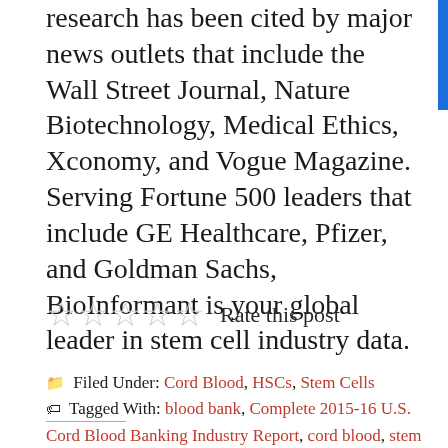research has been cited by major news outlets that include the Wall Street Journal, Nature Biotechnology, Medical Ethics, Xconomy, and Vogue Magazine. Serving Fortune 500 leaders that include GE Healthcare, Pfizer, and Goldman Sachs, BioInformant is your global leader in stem cell industry data.
Rate this post
Filed Under: Cord Blood, HSCs, Stem Cells
Tagged With: blood bank, Complete 2015-16 U.S. Cord Blood Banking Industry Report, cord blood, stem cell